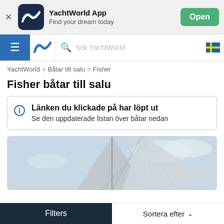[Figure (screenshot): YachtWorld app banner with logo icon, title 'YachtWorld App', subtitle 'Find your dream today', and green 'Open' button]
[Figure (screenshot): Navigation bar with blue hamburger menu, YachtWorld logo, search bar saying 'Sök YachtWorld', and Swedish flag icon]
YachtWorld > Båtar till salu > Fisher
Fisher båtar till salu
Länken du klickade på har löpt ut
Se den uppdaterade listan över båtar nedan
[Figure (photo): Partial photo of a sailboat sail and rigging against a cloudy sky]
Filters
Sortera efter